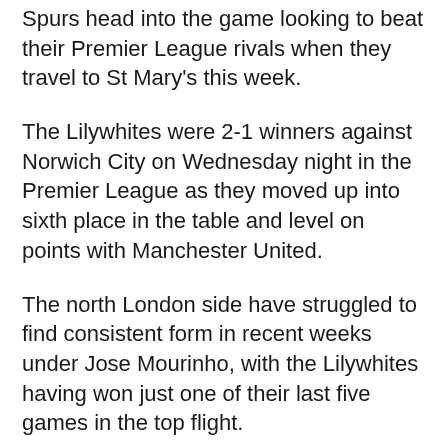Spurs head into the game looking to beat their Premier League rivals when they travel to St Mary's this week.
The Lilywhites were 2-1 winners against Norwich City on Wednesday night in the Premier League as they moved up into sixth place in the table and level on points with Manchester United.
The north London side have struggled to find consistent form in recent weeks under Jose Mourinho, with the Lilywhites having won just one of their last five games in the top flight.
Spurs beat Middlesbrough to reach the fourth round, while Southampton overcame Huddersfield to set up the fourth-round clash